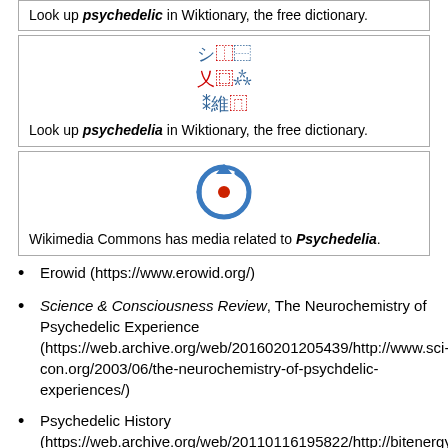Look up psychedelic in Wiktionary, the free dictionary.
[Figure (other): Wiktionary logo with Japanese/Chinese characters in red and blue]
Look up psychedelia in Wiktionary, the free dictionary.
[Figure (logo): Wikimedia Commons logo - blue circular arrow with red dot]
Wikimedia Commons has media related to Psychedelia.
Erowid (https://www.erowid.org/)
Science & Consciousness Review, The Neurochemistry of Psychedelic Experience (https://web.archive.org/web/20160201205439/http://www.sci-con.org/2003/06/the-neurochemistry-of-psychdelic-experiences/)
Psychedelic History (https://web.archive.org/web/20110116195822/http://bitenergy.org/psychedelic/1279-psychedelic-skachat-besplatno.html)
Artists interpretation of psychedelic experiences. (https://tapestrysite.com/trippy-tapestries/)